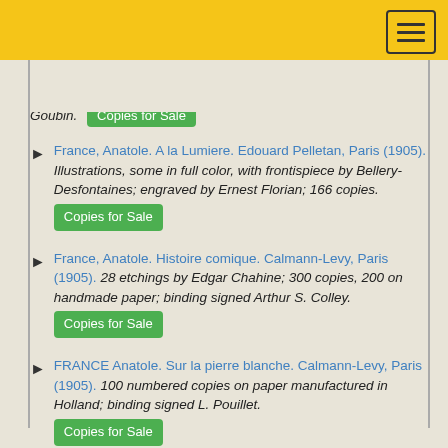Goubin. Copies for Sale
France, Anatole. A la Lumiere. Edouard Pelletan, Paris (1905). Illustrations, some in full color, with frontispiece by Bellery-Desfontaines; engraved by Ernest Florian; 166 copies. Copies for Sale
France, Anatole. Histoire comique. Calmann-Levy, Paris (1905). 28 etchings by Edgar Chahine; 300 copies, 200 on handmade paper; binding signed Arthur S. Colley. Copies for Sale
FRANCE Anatole. Sur la pierre blanche. Calmann-Levy, Paris (1905). 100 numbered copies on paper manufactured in Holland; binding signed L. Pouillet. Copies for Sale
France, Anatole. LIle des Pingouins. Calmann-Levy, Paris (1908). 37 color illustrations by Leon Lebegue, engraved by Draeger Freres. Copies for Sale
France, Anatole. Vie De Jeanne d'Arc. Calmann-Levy,